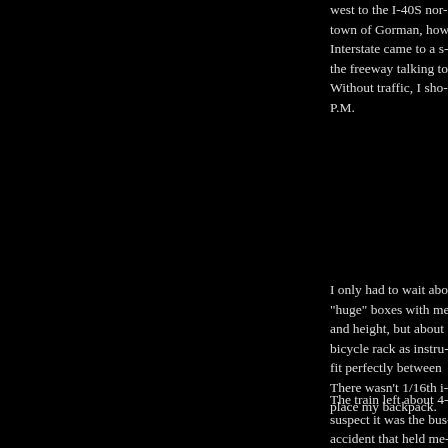west to the I-40S nor... town of Gorman, how... Interstate came to a s... the freeway talking to... Without traffic, I sho... P.M.
On Board
I only had to wait abo... "huge" boxes with me... and height, but about ... bicycle rack as instru... fit perfectly between ... There wasn't 1/16th i... place my backpack.
The train left about 4... suspect it was the bus... accident that held me ... train neither lost any ... minutes in the train so... Emeryville to Oaklan... dispatch problems in ... has taken almost the e...